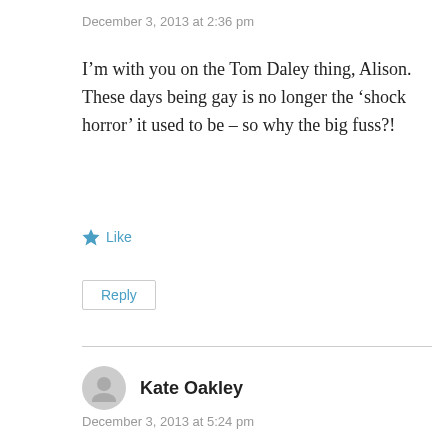December 3, 2013 at 2:36 pm
I’m with you on the Tom Daley thing, Alison. These days being gay is no longer the ‘shock horror’ it used to be – so why the big fuss?!
★ Like
Reply
Kate Oakley
December 3, 2013 at 5:24 pm
Me too, well said Alyson.They are still things that simple are not news .Thanks for saying that so well . x Kate